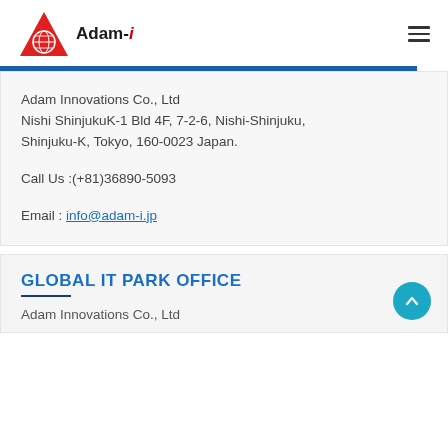[Figure (logo): Adam-i company logo with red triangle/globe icon and text 'Adam-i']
Adam Innovations Co., Ltd
Nishi ShinjukuK-1 Bld 4F, 7-2-6, Nishi-Shinjuku, Shinjuku-K, Tokyo, 160-0023 Japan.
Call Us :(+81)36890-5093
Email : info@adam-i.jp
GLOBAL IT PARK OFFICE
Adam Innovations Co., Ltd